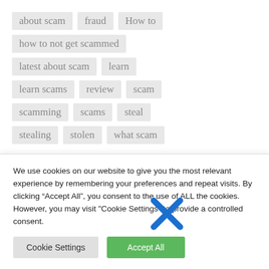[Figure (infographic): Tag cloud with scam/fraud related keywords: about scam, fraud, How to, how to not get scammed, latest about scam, learn, learn scams, review, scam, scamming, scams, steal, stealing, stolen, what scam]
[Figure (infographic): Social share buttons row: Facebook (blue), Twitter (light blue), Pinterest (red), LinkedIn (blue), unknown (dark blue), Reddit (orange), WhatsApp (green), Black button]
We use cookies on our website to give you the most relevant experience by remembering your preferences and repeat visits. By clicking “Accept All”, you consent to the use of ALL the cookies. However, you may visit "Cookie Settings" to provide a controlled consent.
Cookie Settings
Accept All